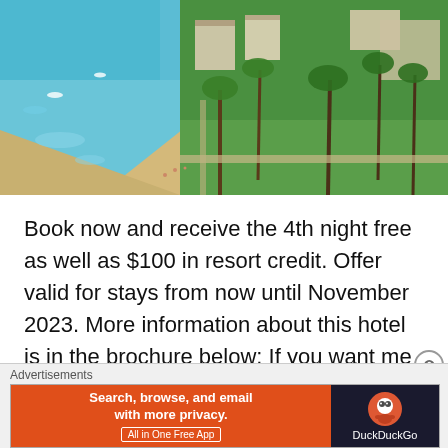[Figure (photo): Aerial view of a tropical beach resort with turquoise ocean water, sandy beach, blue swimming pools, palm trees, and resort buildings]
Book now and receive the 4th night free as well as $100 in resort credit. Offer valid for stays from now until November 2023. More information about this hotel is in the brochure below: If you want me to book this hotel for you so you can receive your 4th night, please schedule your free
[Figure (screenshot): DuckDuckGo advertisement banner: orange left panel reading 'Search, browse, and email with more privacy. All in One Free App' and dark right panel with DuckDuckGo logo]